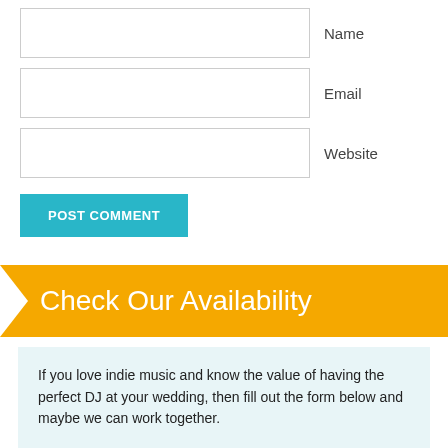Name
Email
Website
POST COMMENT
Check Our Availability
If you love indie music and know the value of having the perfect DJ at your wedding, then fill out the form below and maybe we can work together.
I only work with a maximum of 45 couples/year to ensure that I can provide the personalized service that you expect